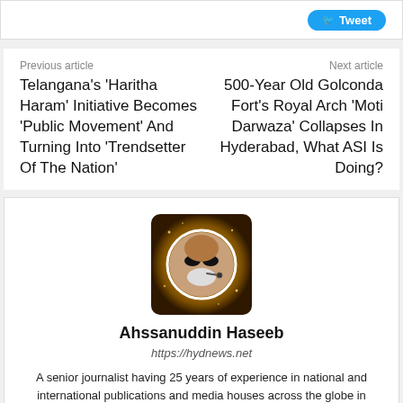[Figure (screenshot): Tweet button visible at top right of a white bar]
Previous article
Next article
Telangana's 'Haritha Haram' Initiative Becomes 'Public Movement' And Turning Into 'Trendsetter Of The Nation'
500-Year Old Golconda Fort's Royal Arch 'Moti Darwaza' Collapses In Hyderabad, What ASI Is Doing?
[Figure (photo): Author profile photo of Ahssanuddin Haseeb with golden circular frame]
Ahssanuddin Haseeb
https://hydnews.net
A senior journalist having 25 years of experience in national and international publications and media houses across the globe in various positions. A multi-lingual personality with desk multi-tasking